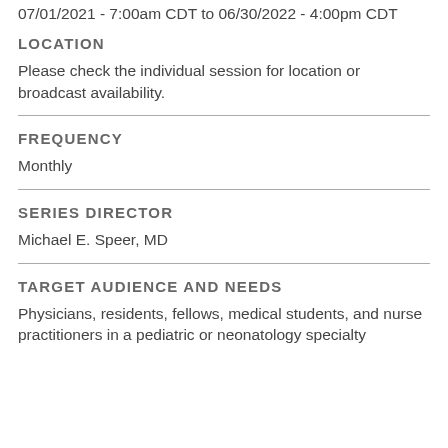07/01/2021 - 7:00am CDT to 06/30/2022 - 4:00pm CDT
LOCATION
Please check the individual session for location or broadcast availability.
FREQUENCY
Monthly
SERIES DIRECTOR
Michael E. Speer, MD
TARGET AUDIENCE AND NEEDS
Physicians, residents, fellows, medical students, and nurse practitioners in a pediatric or neonatology specialty